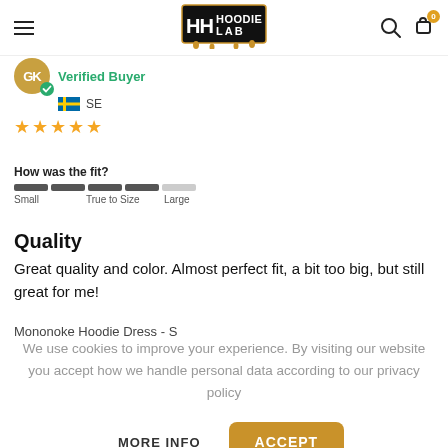Hoodie Lab
Verified Buyer
SE
[Figure (illustration): Five yellow filled stars rating]
How was the fit?
[Figure (infographic): Fit scale bar from Small to Large, 4 of 5 segments filled dark]
Quality
Great quality and color. Almost perfect fit, a bit too big, but still great for me!
Mononoke Hoodie Dress - S
We use cookies to improve your experience. By visiting our website you accept how we handle personal data according to our privacy policy
MORE INFO
ACCEPT